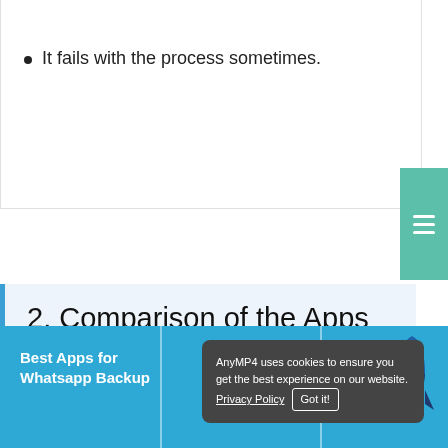It fails with the process sometimes.
2. Comparison of the Apps for Whatsapp Backup
| Best Apps for Whatsapp Backup | Platform | Price |
| --- | --- | --- |
[Figure (infographic): Cookie consent banner: 'AnyMP4 uses cookies to ensure you get the best experience on our website. Privacy Policy [Got it!]']
[Figure (illustration): Rocket illustration on blue background (right side of table header)]